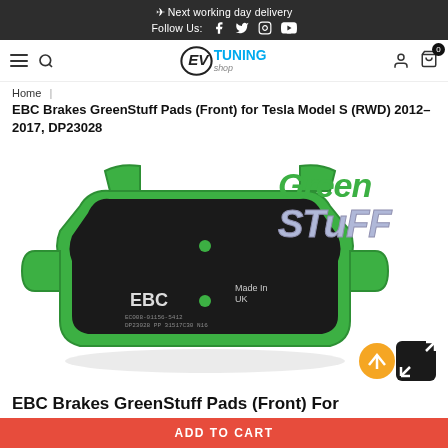✈ Next working day delivery | Follow Us: Facebook Twitter Instagram YouTube
[Figure (logo): EV Tuning Shop logo with navigation icons (hamburger menu, search, user, cart)]
Home | EBC Brakes GreenStuff Pads (Front) for Tesla Model S (RWD) 2012-2017, DP23028
EBC Brakes GreenStuff Pads (Front) for Tesla Model S (RWD) 2012–2017, DP23028
[Figure (photo): EBC Brakes GreenStuff brake pad with green rubber backing, black friction material, EBC branding and Made In UK text visible, GreenStuff logo in top right]
EBC Brakes GreenStuff Pads (Front) For
ADD TO CART